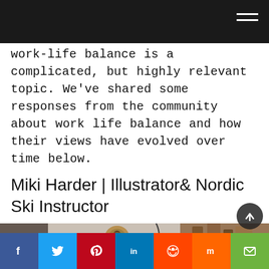work-life balance is a complicated, but highly relevant topic. We've shared some responses from the community about work life balance and how their views have evolved over time below.
Miki Harder | Illustrator& Nordic Ski Instructor
[Figure (photo): A person seen from behind with blonde hair in a bun, sitting in a cluttered studio workspace with wooden items, a hat, small figurines, and various objects on shelves]
Social share bar: Facebook, Twitter, Pinterest, LinkedIn, Reddit, Mix, Email